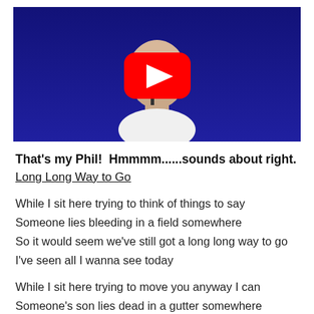[Figure (screenshot): YouTube video thumbnail showing a bald man singing into a microphone against a blue background, with a red YouTube play button overlay in the center.]
That's my Phil!  Hmmmm......sounds about right.
Long Long Way to Go
While I sit here trying to think of things to say
Someone lies bleeding in a field somewhere
So it would seem we've still got a long long way to go
I've seen all I wanna see today
While I sit here trying to move you anyway I can
Someone's son lies dead in a gutter somewhere